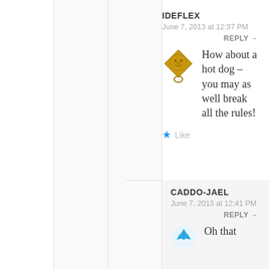IDEFLEX
June 7, 2013 at 12:37 PM
REPLY →
[Figure (illustration): Gold decorative lion door knocker avatar icon, diamond shaped]
How about a hot dog – you may as well break all the rules!
★ Like
CADDO-JAEL
June 7, 2013 at 12:41 PM
REPLY →
[Figure (illustration): Blue recycling/avatar icon, partially visible]
Oh that